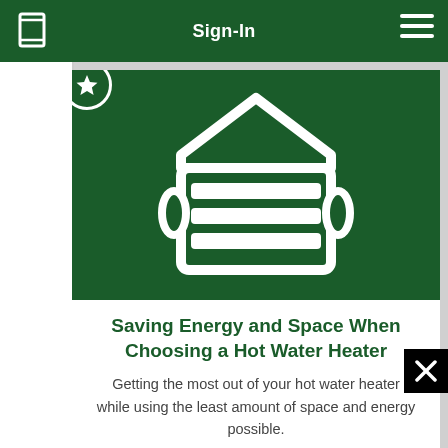Sign-In
[Figure (illustration): Dark green square icon showing a house/building outline with horizontal lines representing a hot water heater, rendered in white on dark green background]
Saving Energy and Space When Choosing a Hot Water Heater
Getting the most out of your hot water heater while using the least amount of space and energy possible.